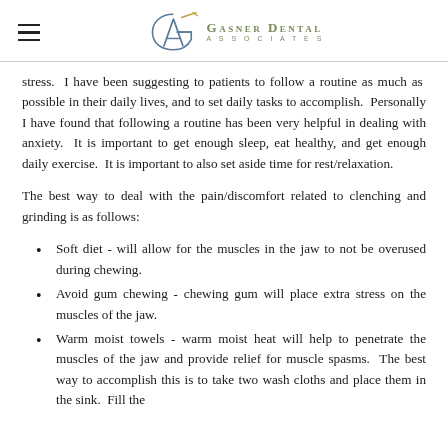Gasner Dental Associates
stress.  I have been suggesting to patients to follow a routine as much as possible in their daily lives, and to set daily tasks to accomplish.  Personally I have found that following a routine has been very helpful in dealing with anxiety.  It is important to get enough sleep, eat healthy, and get enough daily exercise.  It is important to also set aside time for rest/relaxation.
The best way to deal with the pain/discomfort related to clenching and grinding is as follows:
Soft diet - will allow for the muscles in the jaw to not be overused during chewing.
Avoid gum chewing - chewing gum will place extra stress on the muscles of the jaw.
Warm moist towels - warm moist heat will help to penetrate the muscles of the jaw and provide relief for muscle spasms.  The best way to accomplish this is to take two wash cloths and place them in the sink.  Fill the